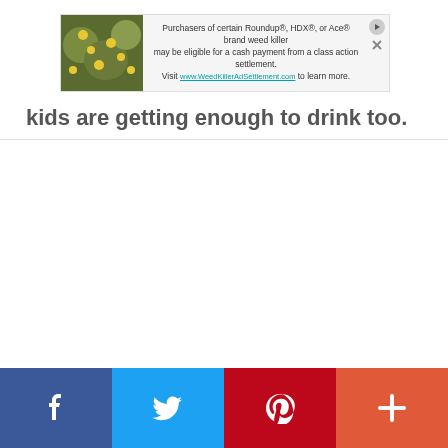[Figure (screenshot): Advertisement banner for Roundup/HDX/Ace brand weed killer class action settlement. Shows a photo of yellow flowers on the left, ad text in the center saying 'Purchasers of certain Roundup®, HDX®, or Ace® brand weed killer may be eligible for a cash payment from a class action settlement. Visit www.WeedKillerAdSettlement.com to learn more.' with play and close buttons on the right.]
kids are getting enough to drink too.
[Figure (infographic): Social media sharing bar with four buttons: Facebook (blue), Twitter (light blue), Pinterest (red), and More/Plus (coral/orange-red).]